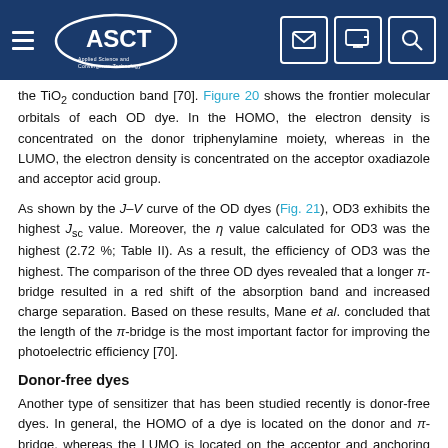ASCT — Applied Science and Convergence Technology
the TiO2 conduction band [70]. Figure 20 shows the frontier molecular orbitals of each OD dye. In the HOMO, the electron density is concentrated on the donor triphenylamine moiety, whereas in the LUMO, the electron density is concentrated on the acceptor oxadiazole and acceptor acid group.
As shown by the J–V curve of the OD dyes (Fig. 21), OD3 exhibits the highest Jsc value. Moreover, the η value calculated for OD3 was the highest (2.72 %; Table II). As a result, the efficiency of OD3 was the highest. The comparison of the three OD dyes revealed that a longer π-bridge resulted in a red shift of the absorption band and increased charge separation. Based on these results, Mane et al. concluded that the length of the π-bridge is the most important factor for improving the photoelectric efficiency [70].
Donor-free dyes
Another type of sensitizer that has been studied recently is donor-free dyes. In general, the HOMO of a dye is located on the donor and π-bridge, whereas the LUMO is located on the acceptor and anchoring groups. However, omitting the donor has been shown to...